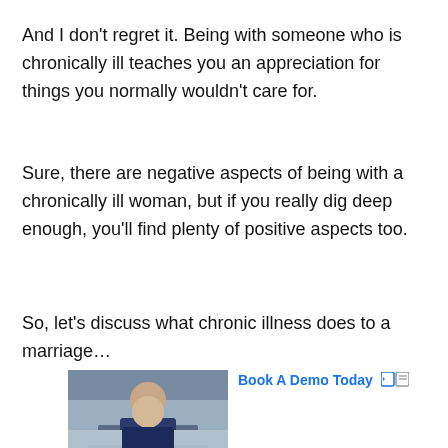And I don't regret it. Being with someone who is chronically ill teaches you an appreciation for things you normally wouldn't care for.
Sure, there are negative aspects of being with a chronically ill woman, but if you really dig deep enough, you'll find plenty of positive aspects too.
So, let's discuss what chronic illness does to a marriage…
[Figure (photo): Advertisement showing a man in glasses and blue shirt sitting at a desk, smiling. Next to the image is the text 'Book A Demo Today' in blue with navigation arrows. Below is labeled 'Ad'.]